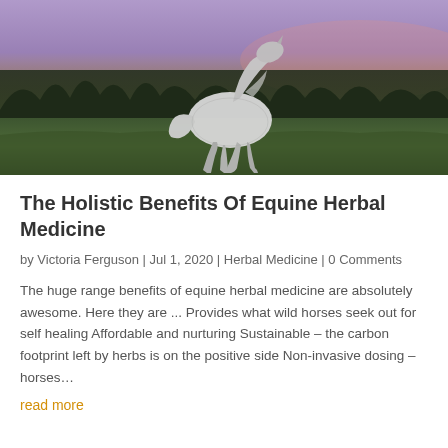[Figure (photo): A white horse rearing/galloping in a green field at dusk, with a dark treeline and purple-pink sunset sky in the background.]
The Holistic Benefits Of Equine Herbal Medicine
by Victoria Ferguson  |  Jul 1, 2020  |  Herbal Medicine  |  0 Comments
The huge range benefits of equine herbal medicine are absolutely awesome. Here they are ... Provides what wild horses seek out for self healing Affordable and nurturing Sustainable – the carbon footprint left by herbs is on the positive side Non-invasive dosing – horses...
read more